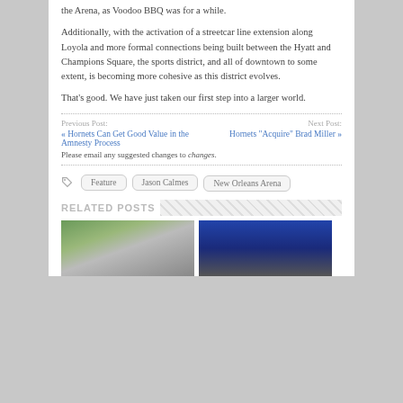the Arena, as Voodoo BBQ was for a while.
Additionally, with the activation of a streetcar line extension along Loyola and more formal connections being built between the Hyatt and Champions Square, the sports district, and all of downtown to some extent, is becoming more cohesive as this district evolves.
That's good. We have just taken our first step into a larger world.
Previous Post:
« Hornets Can Get Good Value in the Amnesty Process
Next Post:
Hornets "Acquire" Brad Miller »
Please email any suggested changes to changes.
Feature  Jason Calmes  New Orleans Arena
RELATED POSTS
[Figure (photo): Photo of ducks walking on a path]
[Figure (photo): Photo of a basketball player]